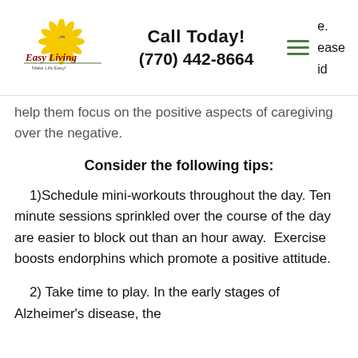Easy Living | Call Today! (770) 442-8664
help them focus on the positive aspects of caregiving over the negative.
Consider the following tips:
1)Schedule mini-workouts throughout the day. Ten minute sessions sprinkled over the course of the day are easier to block out than an hour away.  Exercise boosts endorphins which promote a positive attitude.
2) Take time to play. In the early stages of Alzheimer's disease, the